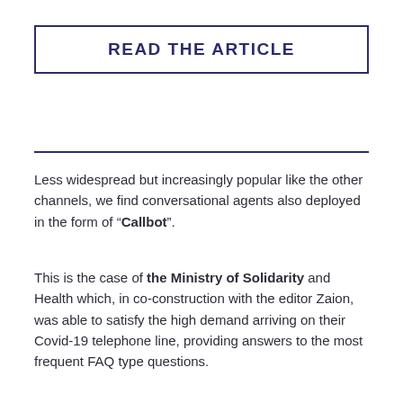READ THE ARTICLE
Less widespread but increasingly popular like the other channels, we find conversational agents also deployed in the form of “Callbot”.
This is the case of the Ministry of Solidarity and Health which, in co-construction with the editor Zaion, was able to satisfy the high demand arriving on their Covid-19 telephone line, providing answers to the most frequent FAQ type questions.